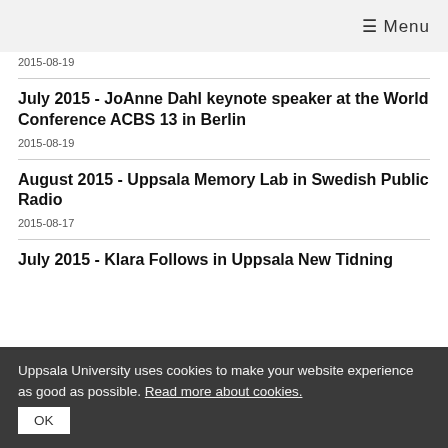☰ Menu
2015-08-19
July 2015 - JoAnne Dahl keynote speaker at the World Conference ACBS 13 in Berlin
2015-08-19
August 2015 - Uppsala Memory Lab in Swedish Public Radio
2015-08-17
July 2015 - Klara Follows in Uppsala New Tidning
Uppsala University uses cookies to make your website experience as good as possible. Read more about cookies.